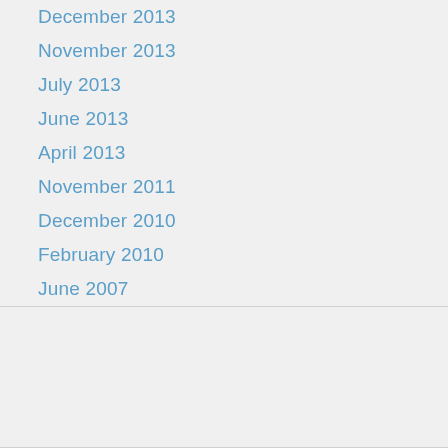December 2013
November 2013
July 2013
June 2013
April 2013
November 2011
December 2010
February 2010
June 2007